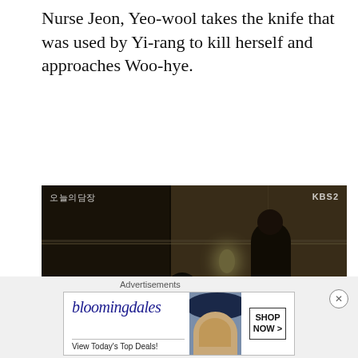Nurse Jeon, Yeo-wool takes the knife that was used by Yi-rang to kill herself and approaches Woo-hye.
[Figure (screenshot): Dark screenshot from a Korean drama showing a hospital room scene. Korean text watermark on top-left reads '오늘의 담장' and 'KBS2' logo on top-right. A figure stands over another person on a bed, with dim lamp lighting. A second person is visible in the lower center foreground.]
However, just as Yeo-wool prepares to stab Woo-hye, Da-il takes over and grabs the knife from her
[Figure (other): Bloomingdale's advertisement banner. Shows 'bloomingdales' logo in blue, 'View Today's Top Deals!' text, a woman in a wide-brim blue hat, and a 'SHOP NOW >' button.]